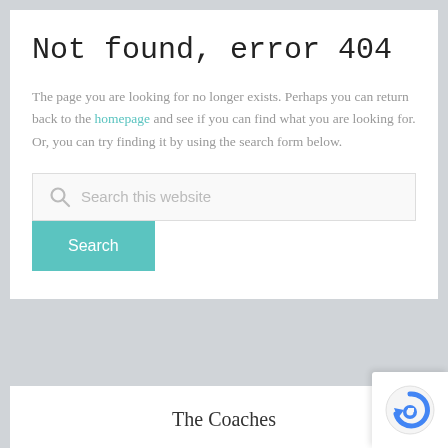Not found, error 404
The page you are looking for no longer exists. Perhaps you can return back to the homepage and see if you can find what you are looking for. Or, you can try finding it by using the search form below.
[Figure (screenshot): Search box with placeholder text 'Search this website' and a teal Search button below it]
The Coaches